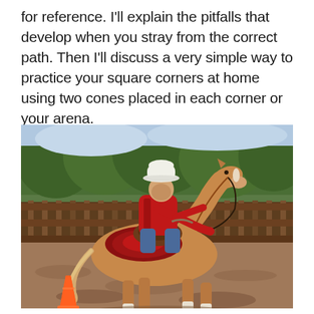for reference. I'll explain the pitfalls that develop when you stray from the correct path. Then I'll discuss a very simple way to practice your square corners at home using two cones placed in each corner or your arena.
[Figure (photo): A rider in a red jacket and white cowboy hat on a palomino/chestnut horse in a dirt arena with wooden fence and trees in background. An orange cone is visible in the foreground. The horse appears to be performing a maneuver.]